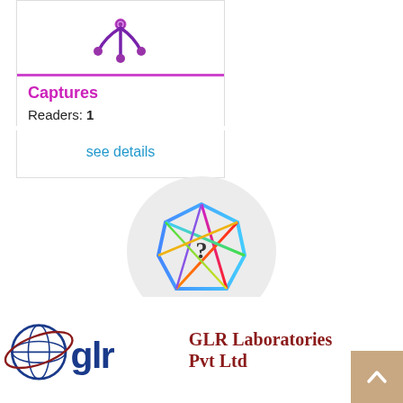[Figure (logo): Mendeley logo (purple splash/droplet icon) at top of card]
Captures
Readers: 1
see details
[Figure (illustration): Colorful geometric icosahedron shape with a question mark in the center, on a light gray circular background]
[Figure (logo): GLR Laboratories Pvt Ltd logo with globe/orbit icon and stylized glr letters in dark blue and dark red]